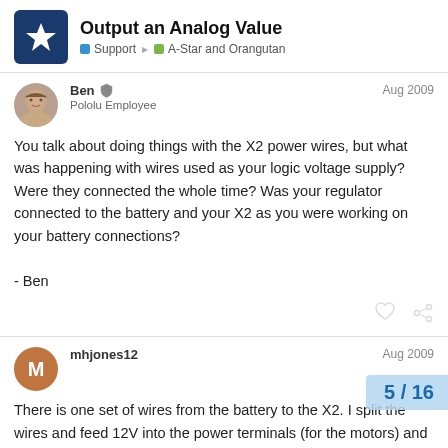Output an Analog Value | Support | A-Star and Orangutan
Ben
Pololu Employee
Aug 2009
You talk about doing things with the X2 power wires, but what was happening with wires used as your logic voltage supply? Were they connected the whole time? Was your regulator connected to the battery and your X2 as you were working on your battery connections?

- Ben
mhjones12
Aug 2009
There is one set of wires from the battery to the X2. I split the wires and feed 12V into the power terminals (for the motors) and supply the 5V regulator. This ...
5 / 16